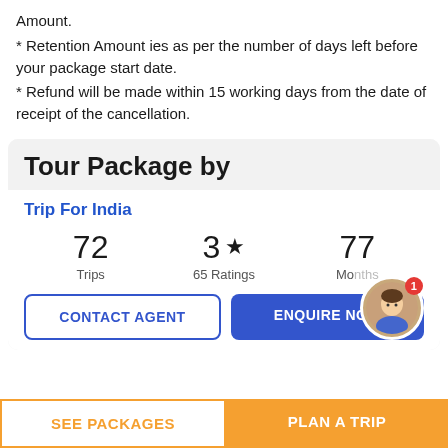Amount.
* Retention Amount ies as per the number of days left before your package start date.
* Refund will be made within 15 working days from the date of receipt of the cancellation.
Tour Package by
Trip For India
72 Trips  3 ★ 65 Ratings  77 Mo_
CONTACT AGENT
ENQUIRE NOW
SEE PACKAGES
PLAN A TRIP